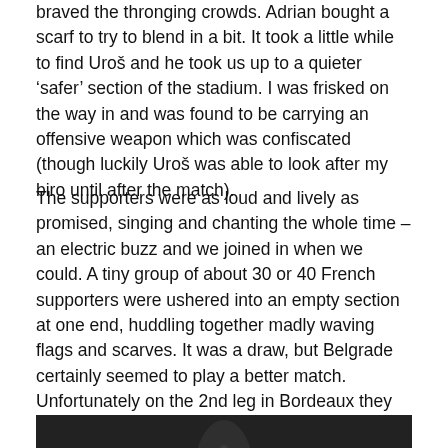braved the thronging crowds. Adrian bought a scarf to try to blend in a bit. It took a little while to find Uroš and he took us up to a quieter 'safer' section of the stadium. I was frisked on the way in and was found to be carrying an offensive weapon which was confiscated (though luckily Uroš was able to look after my biro until after the match).
The supporters were as loud and lively as promised, singing and chanting the whole time – an electric buzz and we joined in when we could. A tiny group of about 30 or 40 French supporters were ushered into an empty section at one end, huddling together madly waving flags and scarves. It was a draw, but Belgrade certainly seemed to play a better match. Unfortunately on the 2nd leg in Bordeaux they lost and are out of the tournament.
[Figure (photo): Dark photograph, appears to be a night-time stadium scene, partially visible at bottom of page]